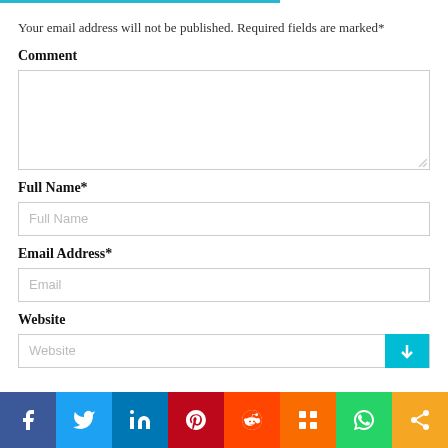Your email address will not be published. Required fields are marked*
Comment
Full Name*
Email Address*
Website